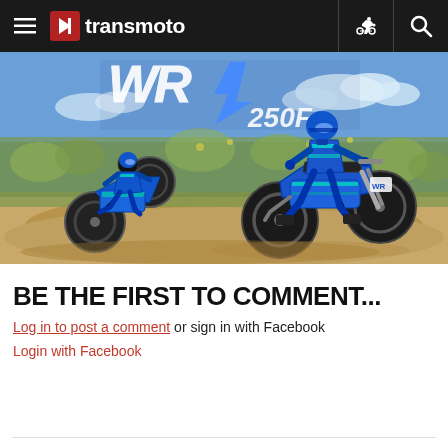transmoto
[Figure (photo): Two dirt bike riders on blue Yamaha WR250F motorcycles riding on a dusty trail with scrubby vegetation in the background. The Yamaha WR 250F logo is overlaid at the top of the image.]
BE THE FIRST TO COMMENT...
Log in to post a comment or sign in with Facebook
Login with Facebook